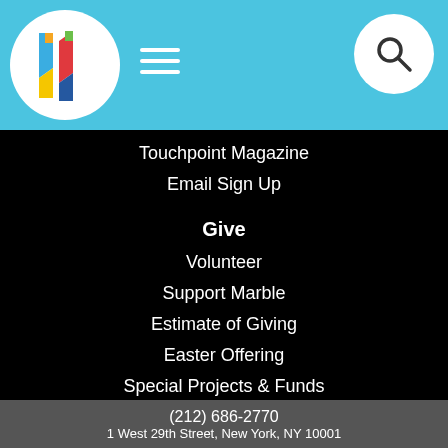[Figure (logo): Colorful stained-glass style logo in white circle on blue header bar]
[Figure (illustration): Hamburger menu icon (three horizontal white lines) on blue header]
[Figure (illustration): Search icon (magnifying glass) in white circle on right of blue header]
Touchpoint Magazine
Email Sign Up
Give
Volunteer
Support Marble
Estimate of Giving
Easter Offering
Special Projects & Funds
Gift Shop
(212) 686-2770
1 West 29th Street, New York, NY 10001